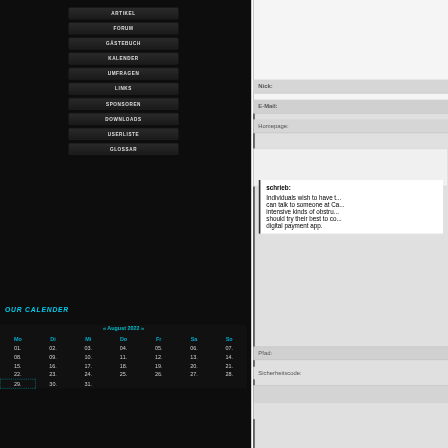ARTIKEL
FORUM
GÄSTEBUCH
KALENDER
UMFRAGEN
LINKS
SPONSOREN
DOWNLOADS
USERLISTE
GLOSSAR
OUR CALENDER
| Mo | Di | Mi | Do | Fr | Sa | So |
| --- | --- | --- | --- | --- | --- | --- |
| 01. | 02. | 03. | 04. | 05. | 06. | 07. |
| 08. | 09. | 10. | 11. | 12. | 13. | 14. |
| 15. | 16. | 17. | 18. | 19. | 20. | 21. |
| 22. | 23. | 24. | 25. | 26. | 27. | 28. |
| 29. | 30. | 31. |  |  |  |  |
Nick:
E-Mail:
Homepage:
schrieb:
Individuals wish to have t... can talk to someone at Ca... intensive kinds of obstru... should try their best to co... digital payment app.
Pfad:
Sicherheitscode: